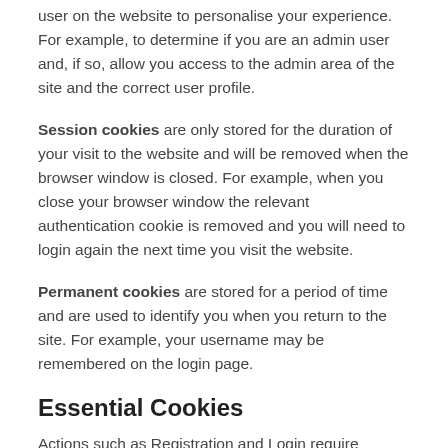user on the website to personalise your experience. For example, to determine if you are an admin user and, if so, allow you access to the admin area of the site and the correct user profile.
Session cookies are only stored for the duration of your visit to the website and will be removed when the browser window is closed. For example, when you close your browser window the relevant authentication cookie is removed and you will need to login again the next time you visit the website.
Permanent cookies are stored for a period of time and are used to identify you when you return to the site. For example, your username may be remembered on the login page.
Essential Cookies
Actions such as Registration and Login require cookies to determine the permission level the site should grant to